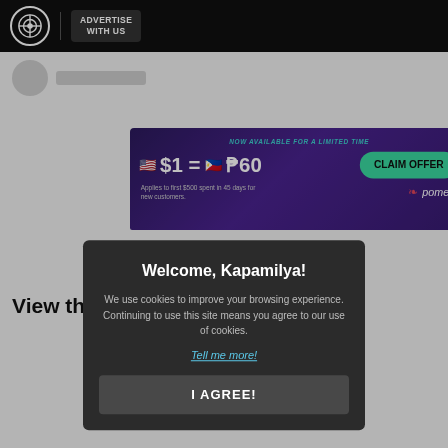ADVERTISE WITH US
[Figure (screenshot): Advertisement banner: NOW AVAILABLE FOR A LIMITED TIME. $1 = ₱60. Applies to first $500 spent in 45 days for new customers. CLAIM OFFER. pomelo brand.]
View this p
Welcome, Kapamilya! We use cookies to improve your browsing experience. Continuing to use this site means you agree to our use of cookies. Tell me more! I AGREE!